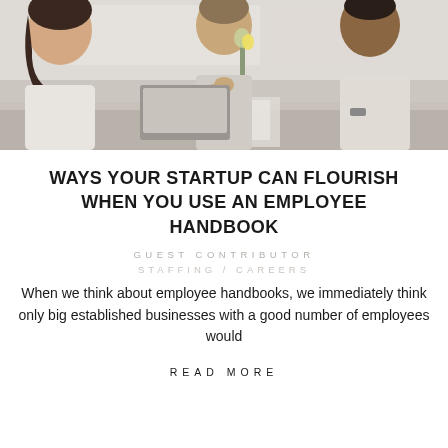[Figure (photo): Office meeting scene with three people seated at a table discussing, one holding a laptop, papers and coffee cup on table]
WAYS YOUR STARTUP CAN FLOURISH WHEN YOU USE AN EMPLOYEE HANDBOOK
GUEST CONTRIBUTOR
STAFFING / CAREERS
When we think about employee handbooks, we immediately think only big established businesses with a good number of employees would
READ MORE